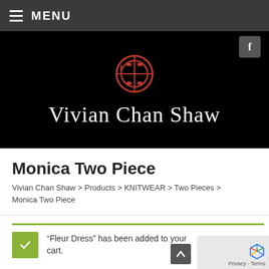MENU
[Figure (logo): Vivian Chan Shaw brand logo with red Chinese decorative symbol above the brand name in white serif font on black background]
Monica Two Piece
Vivian Chan Shaw > Products > KNITWEAR > Two Pieces > Monica Two Piece
"Fleur Dress" has been added to your cart.